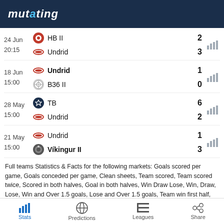mutating
| Date | Team | Score |  |
| --- | --- | --- | --- |
| 24 Jun 20:15 | HB II | 2 |  |
|  | Undrid | 3 |  |
| 18 Jun 15:00 | Undrid | 1 |  |
|  | B36 II | 0 |  |
| 28 May 15:00 | TB | 6 |  |
|  | Undrid | 2 |  |
| 21 May 15:00 | Undrid | 1 |  |
|  | Víkingur II | 3 |  |
Full teams Statistics & Facts for the following markets: Goals scored per game, Goals conceded per game, Clean sheets, Team scored, Team scored twice, Scored in both halves, Goal in both halves, Win Draw Lose, Win, Draw, Lose, Win and Over 1.5 goals, Lose and Over 1.5 goals, Team win first half, Team draw at half time, Team lost first half, Both Teams to Score, Both Teams to Score, BTTS in first-half, BBTS in second-half, BBTS and Over, BBTS and Over, Win and BTTS.
Stats   Predictions   Leagues   Share